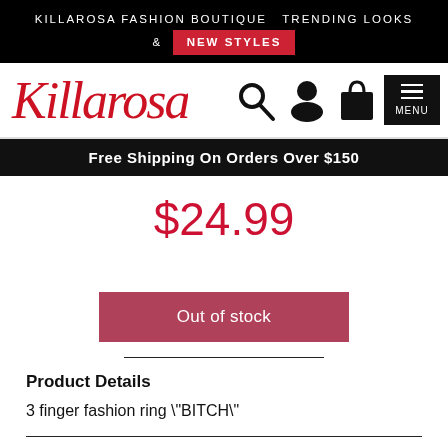KILLAROSA FASHION BOUTIQUE  TRENDING LOOKS & NEW STYLES
[Figure (logo): Killarosa script logo in red italic font]
[Figure (infographic): Navigation icons: search magnifier, user silhouette, shopping bag, menu button with MENU label]
Free Shipping On Orders Over $150
$24.99
Out of stock
Product Details
3 finger fashion ring "BITCH"